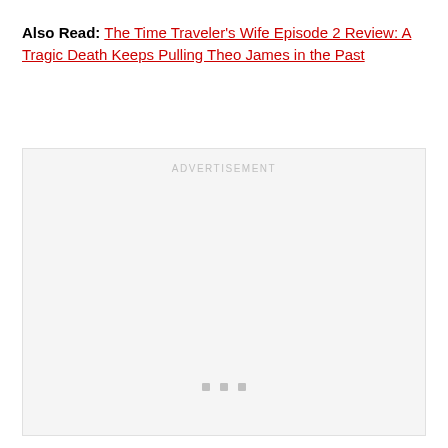Also Read: The Time Traveler's Wife Episode 2 Review: A Tragic Death Keeps Pulling Theo James in the Past
[Figure (other): Advertisement placeholder box with 'ADVERTISEMENT' label centered at top and three small square dots near the bottom center]